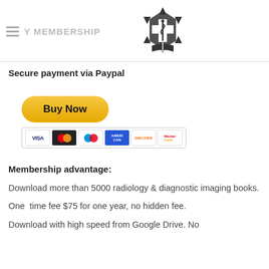Y MEMBERSHIP
[Figure (logo): Medical star of life logo with snake and staff, open book below]
Secure payment via Paypal
[Figure (other): PayPal Buy Now button with credit card icons (VISA, Mastercard, Maestro, American Express, Discover, Mastercard)]
Membership advantage:
Download more than 5000 radiology & diagnostic imaging books.
One  time fee $75 for one year, no hidden fee.
Download with high speed from Google Drive. No